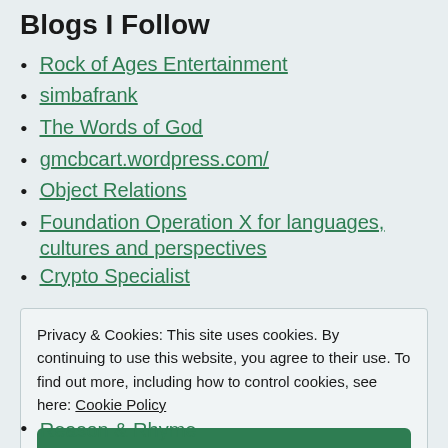Blogs I Follow
Rock of Ages Entertainment
simbafrank
The Words of God
gmcbcart.wordpress.com/
Object Relations
Foundation Operation X for languages, cultures and perspectives
Crypto Specialist
Privacy & Cookies: This site uses cookies. By continuing to use this website, you agree to their use. To find out more, including how to control cookies, see here: Cookie Policy
Reason & Rhyme